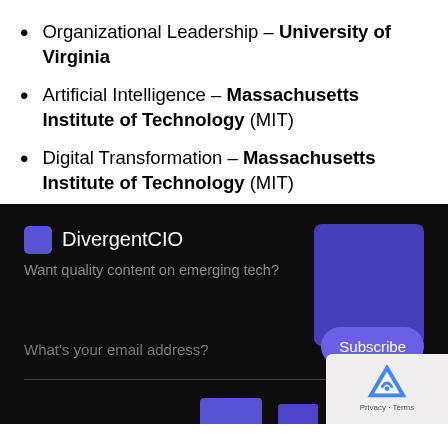Organizational Leadership – University of Virginia
Artificial Intelligence – Massachusetts Institute of Technology (MIT)
Digital Transformation – Massachusetts Institute of Technology (MIT)
[Figure (screenshot): DivergentCIO newsletter subscription widget on dark background with email input field, Subscribe button, purple decorative box, and reCAPTCHA badge]
DivergentCIO
Want quality content on emerging tech?
What's your email address?